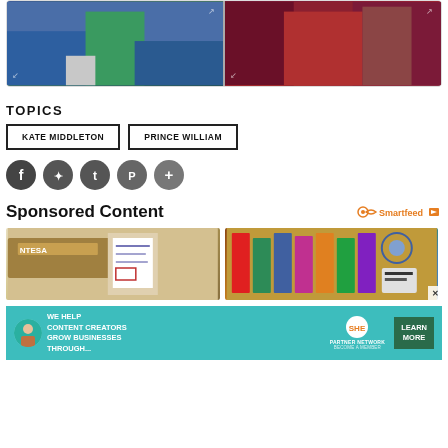[Figure (photo): Two side-by-side photos: left shows person in blue suit with green-dressed person, right shows people in red and maroon clothing]
TOPICS
KATE MIDDLETON
PRINCE WILLIAM
[Figure (other): Social media share icons: Facebook, Twitter, Tumblr, Pinterest, and More (+)]
Sponsored Content
[Figure (logo): Smartfeed logo with infinity symbol and play button icon]
[Figure (photo): Two sponsored content thumbnail images: left shows NTESA signage/documents, right shows colorful school/office supplies on a desk]
[Figure (other): Advertisement banner: WE HELP CONTENT CREATORS GROW BUSINESSES THROUGH... with SHE Partner Network logo and LEARN MORE button]